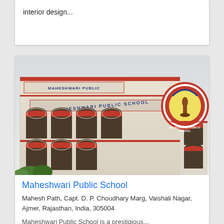interior design...
[Figure (photo): Photograph of Maheshwari Public School building exterior with red and white facade, arched windows, and school logo in top right corner]
Maheshwari Public School
Mahesh Path, Capt. D. P. Choudhary Marg, Vaishali Nagar, Ajmer, Rajasthan, India, 305004
Maheshwari Public School is a prestigious...